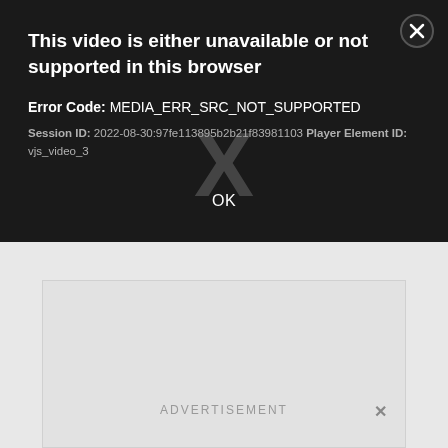This video is either unavailable or not supported in this browser
Error Code: MEDIA_ERR_SRC_NOT_SUPPORTED
Session ID: 2022-08-30:97fe113895b2b21f83981103 Player Element ID: vjs_video_3
OK
[Figure (other): Light gray advertisement placeholder box with 'ADVERTISEMENT' text label and close (x) button]